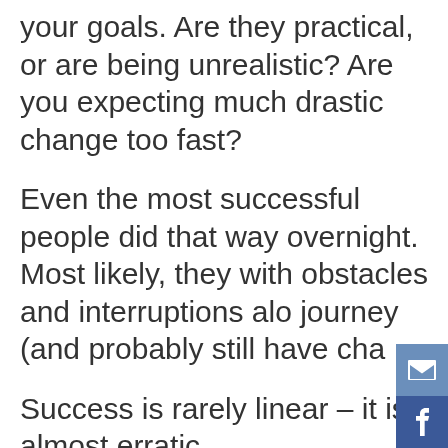your goals. Are they practical, or are being unrealistic? Are you expecting much drastic change too fast?
Even the most successful people did that way overnight. Most likely, they with obstacles and interruptions alo journey (and probably still have cha
Success is rarely linear – it is almost erratic.
Almost every success story has i a long list of disappointments, fr